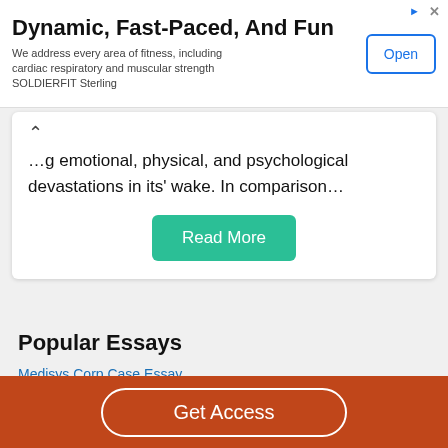[Figure (other): Advertisement banner: Dynamic, Fast-Paced, And Fun — fitness app ad with Open button]
…g emotional, physical, and psychological devastations in its' wake. In comparison…
Read More
Popular Essays
Medisys Corp Case Essay
Ocean Carriers Case Report Essay
Get Access